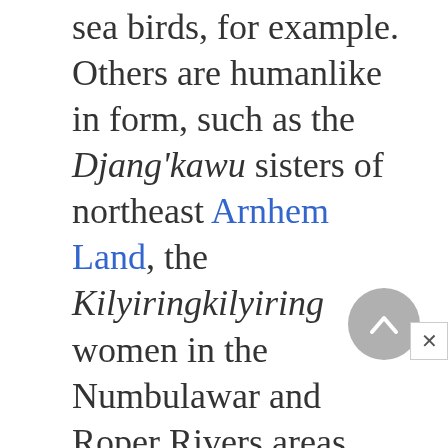sea birds, for example. Others are humanlike in form, such as the Djang'kawu sisters of northeast Arnhem Land, the Kilyiringkilyiring women in the Numbulawar and Roper Rivers areas, and the Ii-Maramaranja, dugong hunters of the southwest Gulf of Carpentaria. These are among the numerous beings that made journeys, all of which founded groups of people who are their direct descendants today. As these beings traveled, they transformed their bodies, or moved